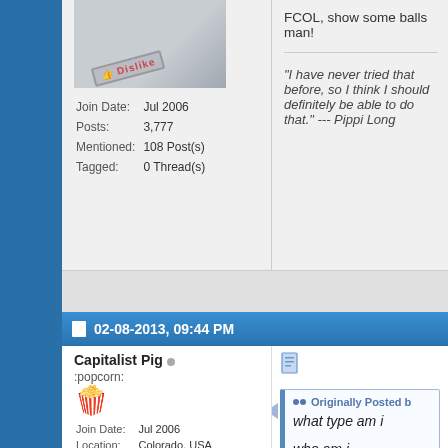[Figure (photo): Avatar image with Dislike stamp overlay]
Join Date: Jul 2006
Posts: 3,777
Mentioned: 108 Post(s)
Tagged: 0 Thread(s)
FCOL, show some balls man!
“I have never tried that before, so I think I should definitely be able to do that.” --- Pippi Long
02-08-2013, 09:44 PM
Capitalist Pig
:popcorn:
Join Date: Jul 2006
Location: Colorado, USA
Posts: 6,264
Mentioned: 166 Post(s)
Tagged: 7 Thread(s)
Originally Posted b
what type am i
who am i